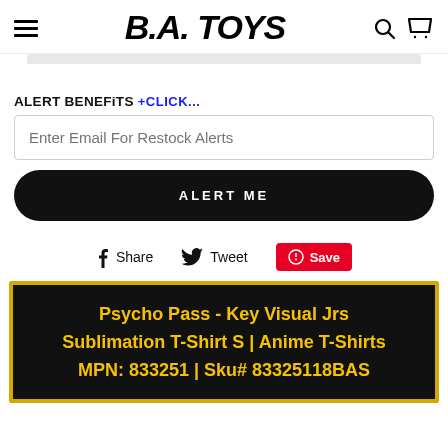BA. TOYS
ALERT BENEFiTS +CLiCK...
Enter Email For Restock Alerts
ALERT ME
Share  Tweet  Save
Psycho Pass - Key Visual Jrs Sublimation T-Shirt S | Anime T-Shirts MPN: 833251 | Sku# 83325118BAS